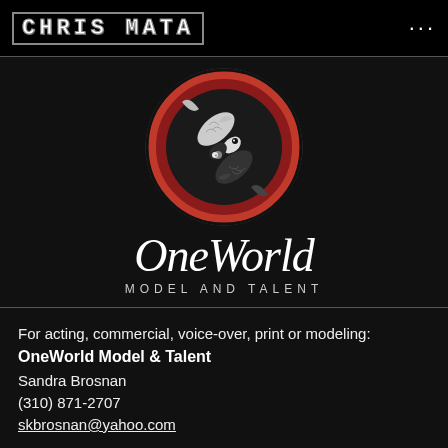CHRIS MATA
[Figure (logo): OneWorld Model and Talent logo: circular emblem with two koi fish in yin-yang style on a red and dark background, with 'OneWorld' in italic serif text and 'MODEL AND TALENT' in spaced caps below]
For acting, commercial, voice-over, print or modeling:
OneWorld Model & Talent
Sandra Brosnan
(310) 871-2707
skbrosnan@yahoo.com